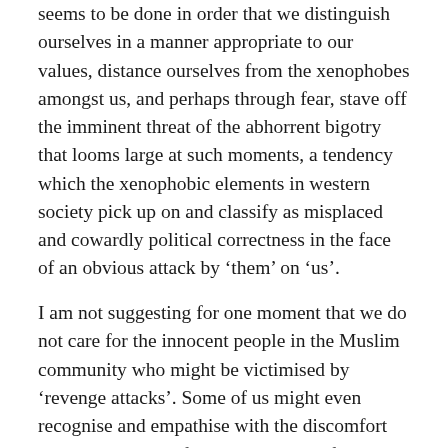seems to be done in order that we distinguish ourselves in a manner appropriate to our values, distance ourselves from the xenophobes amongst us, and perhaps through fear, stave off the imminent threat of the abhorrent bigotry that looms large at such moments, a tendency which the xenophobic elements in western society pick up on and classify as misplaced and cowardly political correctness in the face of an obvious attack by ‘them’ on ‘us’.
I am not suggesting for one moment that we do not care for the innocent people in the Muslim community who might be victimised by ‘revenge attacks’. Some of us might even recognise and empathise with the discomfort ordinary Muslims feel due to their unfortunate condition of accidental association. I am simply suggesting that we can only care for them as a bland and faceless whole, and that this is a problem.
For the most part we can only differentiate the